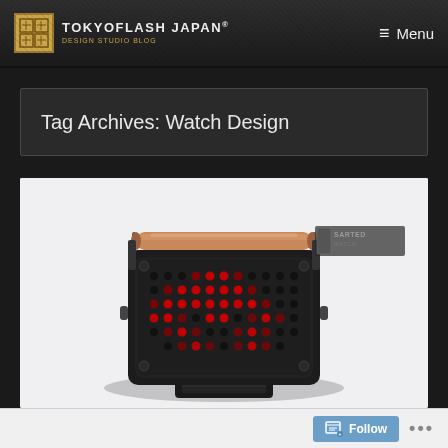TOKYOFLASH JAPAN® DESIGN STUDIO BLOG  ≡ Menu
Tag Archives: Watch Design
[Figure (photo): 3D rendered concept watch with black perforated metal casing, red LED dot matrix display, brown leather/wood roller element on top, and dark metal strap. A logo watermark reads 'SARTED WATCH' in upper right.]
Follow  •••